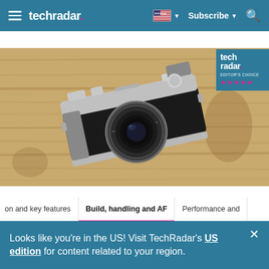techradar. | Subscribe | [Search]
[Figure (photo): A retro-style Fujifilm X100 compact camera with silver and black body, placed on a wooden surface. TechRadar Editor's Choice badge with 5 stars shown in top-right corner.]
on and key features | Build, handling and AF | Performance and
Looks like you're in the US! Visit TechRadar's US edition for content related to your region.